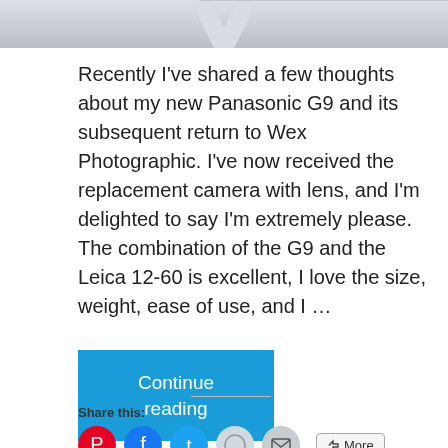[Figure (photo): Snowy road or winter landscape photo strip at top of page]
Recently I've shared a few thoughts about my new Panasonic G9 and its subsequent return to Wex Photographic. I've now received the replacement camera with lens, and I'm delighted to say I'm extremely please. The combination of the G9 and the Leica 12-60 is excellent, I love the size, weight, ease of use, and I …
Continue reading
Share this: